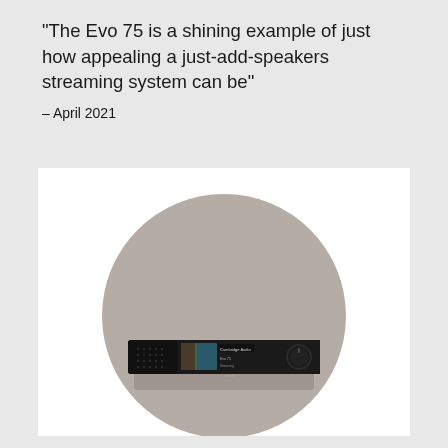“The Evo 75 is a shining example of just how appealing a just-add-speakers streaming system can be”
– April 2021
[Figure (photo): A black Cambridge Audio Evo 75 streaming amplifier with a colorful album art display and large volume knob, sitting on a grey shelf/plinth against a taupe/warm grey circular background.]